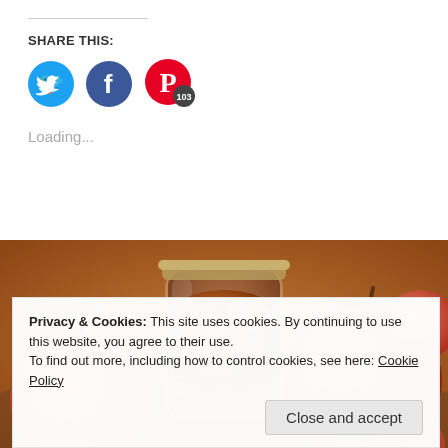SHARE THIS:
[Figure (illustration): Three social media share buttons: Twitter (blue bird icon), Facebook (blue f icon), Pinterest (red P icon with badge showing 103)]
Loading...
[Figure (photo): Close-up photo of a jar of apple butter surrounded by red apples on a surface]
Privacy & Cookies: This site uses cookies. By continuing to use this website, you agree to their use.
To find out more, including how to control cookies, see here: Cookie Policy
Close and accept